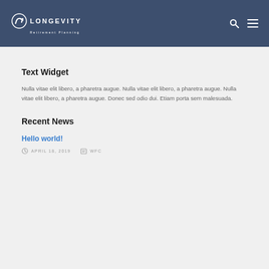LONGEVITY Retirement Planning
Text Widget
Nulla vitae elit libero, a pharetra augue. Nulla vitae elit libero, a pharetra augue. Nulla vitae elit libero, a pharetra augue. Donec sed odio dui. Etiam porta sem malesuada.
Recent News
Hello world!
APRIL 18, 2019   WFC